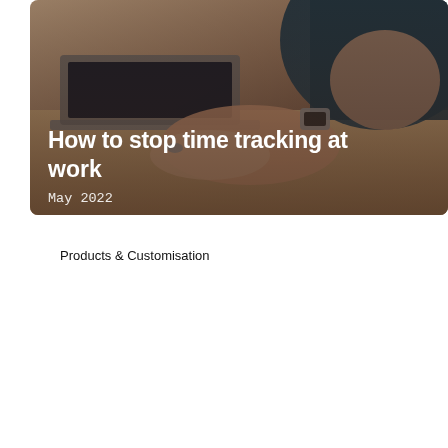[Figure (photo): Hero image showing hands typing on a laptop on a desk, with one person wearing a watch and the other a dark sleeve. Overlaid with a dark brownish semi-transparent gradient and white text showing the article title and date.]
How to stop time tracking at work
May 2022
Products & Customisation